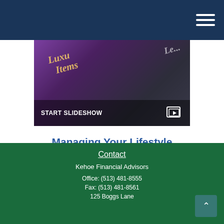Navigation header with hamburger menu
[Figure (screenshot): Slideshow thumbnail image showing luxury items (purple background with tablet/phone), with START SLIDESHOW overlay text and play icon]
Managing Your Lifestyle
Using smart management to get more of what you want and free up assets to invest.
Contact | Kehoe Financial Advisors | Office: (513) 481-8555 | Fax: (513) 481-8561 | 125 Boggs Lane